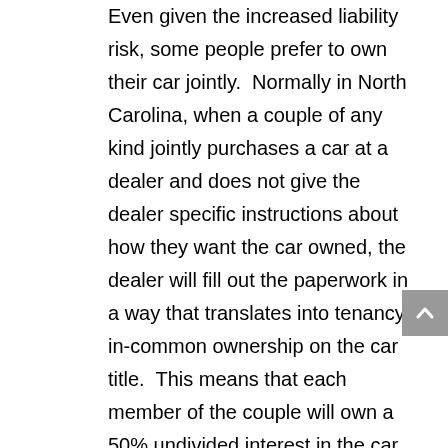Even given the increased liability risk, some people prefer to own their car jointly. Normally in North Carolina, when a couple of any kind jointly purchases a car at a dealer and does not give the dealer specific instructions about how they want the car owned, the dealer will fill out the paperwork in a way that translates into tenancy-in-common ownership on the car title. This means that each member of the couple will own a 50% undivided interest in the car (which is, unlike land, and undividable asset) with no survivorship rights. This can produce undesirable results.

In order for the survivor of any couple, including a married couple, to inherit a jointly-